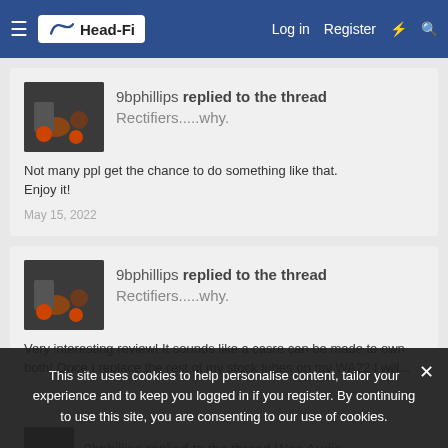Head-Fi — Log in  Register
9bphillips replied to the thread Rectifiers.....why.
Not many ppl get the chance to do something like that. Enjoy it!
May 15, 2022
9bphillips replied to the thread Rectifiers.....why.
Very interesting review! It sounds like a casre can be made to own both! Once I replace the rest of my stock tubes on my WA22 I will...
This site uses cookies to help personalise content, tailor your experience and to keep you logged in if you register. By continuing to use this site, you are consenting to our use of cookies.
9bphillips replied to the thread Woo Audio